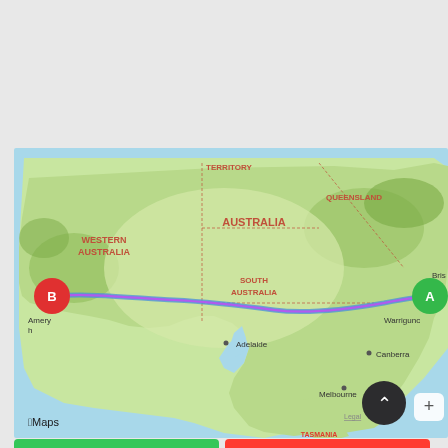[Figure (map): Apple Maps screenshot showing a route across southern Australia from point B (Amery, Western Australia, red pin) to point A (Warrigund area, New South Wales, green pin). The route is shown as a blue line with pink/magenta highlight along the southern coast of Australia. States labeled: Western Australia, Australia (central), Queensland, South Australia, Tasmania. Cities visible: Adelaide, Canberra, Melbourne, Brisbane (partial). Water bodies shown in blue. Apple Maps logo and Legal link visible at bottom left.]